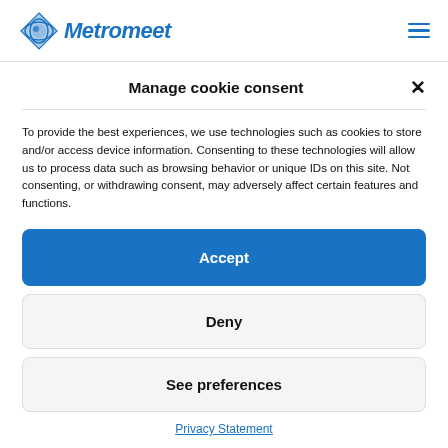[Figure (logo): Metromeet logo with blue diamond/globe icon and italic bold blue text]
Manage cookie consent
To provide the best experiences, we use technologies such as cookies to store and/or access device information. Consenting to these technologies will allow us to process data such as browsing behavior or unique IDs on this site. Not consenting, or withdrawing consent, may adversely affect certain features and functions.
Accept
Deny
See preferences
Privacy Statement